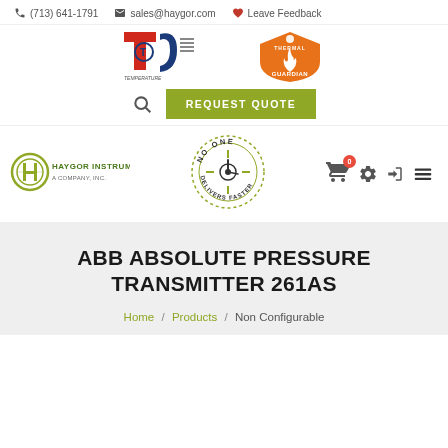(713) 641-1791  sales@haygor.com  Leave Feedback
[Figure (logo): TCS Temperature Compensating Seals logo (red and blue)]
[Figure (logo): Thermal Guardian logo (orange flame shield)]
[Figure (logo): Haygor Instrument & Company Inc. logo (circular H emblem)]
[Figure (logo): No One Delivers Faster circular badge logo]
ABB ABSOLUTE PRESSURE TRANSMITTER 261AS
Home / Products / Non Configurable